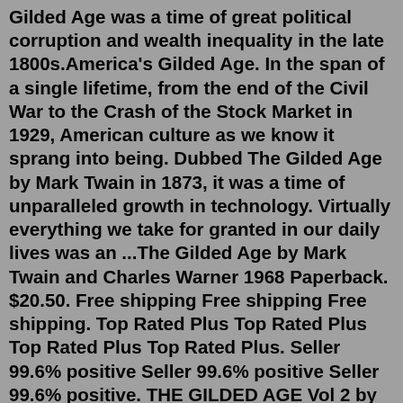Gilded Age was a time of great political corruption and wealth inequality in the late 1800s.America's Gilded Age. In the span of a single lifetime, from the end of the Civil War to the Crash of the Stock Market in 1929, American culture as we know it sprang into being. Dubbed The Gilded Age by Mark Twain in 1873, it was a time of unparalleled growth in technology. Virtually everything we take for granted in our daily lives was an ...The Gilded Age by Mark Twain and Charles Warner 1968 Paperback. $20.50. Free shipping Free shipping Free shipping. Top Rated Plus Top Rated Plus Top Rated Plus Top Rated Plus. Seller 99.6% positive Seller 99.6% positive Seller 99.6% positive. THE GILDED AGE Vol 2 by Mark Twain -1915. $18.00The Gilded Age: A Tale of Today by Twain, Twain, ISBN 1724919741, ISBN-13 9781724919748, Brand New, Free P&P in the UK<br><br>The Gilded Age: A Tale of Today is a novel by Mark Twain and Charles Dudley Warner first published in 1873. It satirizes greed and political